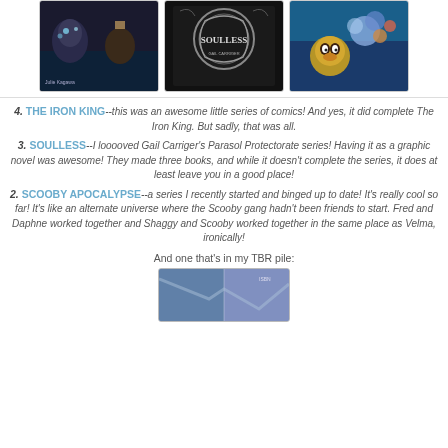[Figure (photo): Three book covers in a row: The Iron King (dark fantasy comic), Soulless (black and white ornate cover), and Scooby Apocalypse (colorful cartoon)]
4. THE IRON KING--this was an awesome little series of comics! And yes, it did complete The Iron King. But sadly, that was all.
3. SOULLESS--I looooved Gail Carriger's Parasol Protectorate series! Having it as a graphic novel was awesome! They made three books, and while it doesn't complete the series, it does at least leave you in a good place!
2. SCOOBY APOCALYPSE--a series I recently started and binged up to date! It's really cool so far! It's like an alternate universe where the Scooby gang hadn't been friends to start. Fred and Daphne worked together and Shaggy and Scooby worked together in the same place as Velma, ironically!
And one that's in my TBR pile:
[Figure (photo): Partial book cover visible at bottom of page, showing a blue/purple toned comic or graphic novel cover]